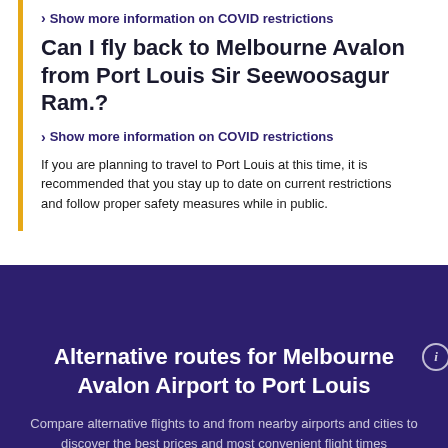> Show more information on COVID restrictions
Can I fly back to Melbourne Avalon from Port Louis Sir Seewoosagur Ram.?
> Show more information on COVID restrictions
If you are planning to travel to Port Louis at this time, it is recommended that you stay up to date on current restrictions and follow proper safety measures while in public.
Alternative routes for Melbourne Avalon Airport to Port Louis
Compare alternative flights to and from nearby airports and cities to discover the best prices and most convenient flight times